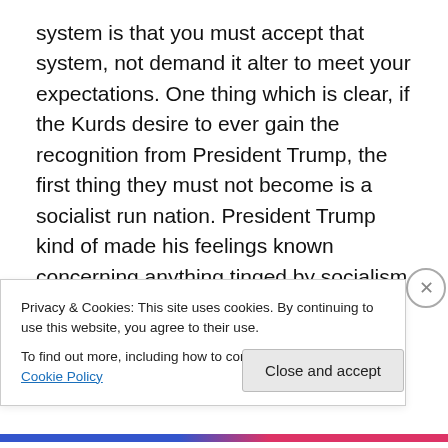system is that you must accept that system, not demand it alter to meet your expectations. One thing which is clear, if the Kurds desire to ever gain the recognition from President Trump, the first thing they must not become is a socialist run nation. President Trump kind of made his feelings known concerning anything tinged by socialism during his United Nations speech. Thankfully, the Kurds of Iraq desire a free state and economy unrestricted by the chocking restraints of socialism. All that remains is the final count of their referendum. Obviously, we are hoping they choose to be free and run their own lives and nation
Privacy & Cookies: This site uses cookies. By continuing to use this website, you agree to their use.
To find out more, including how to control cookies, see here: Cookie Policy
Close and accept